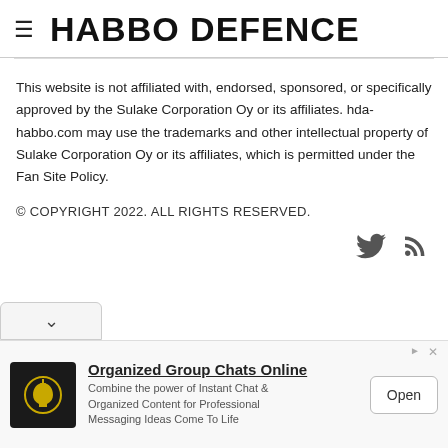HABBO DEFENCE
This website is not affiliated with, endorsed, sponsored, or specifically approved by the Sulake Corporation Oy or its affiliates. hda-habbo.com may use the trademarks and other intellectual property of Sulake Corporation Oy or its affiliates, which is permitted under the Fan Site Policy.
© COPYRIGHT 2022. ALL RIGHTS RESERVED.
[Figure (infographic): Twitter and RSS social media icons]
[Figure (infographic): Advertisement banner: Organized Group Chats Online — Combine the power of Instant Chat & Organized Content for Professional Messaging Ideas Come To Life. Open button.]